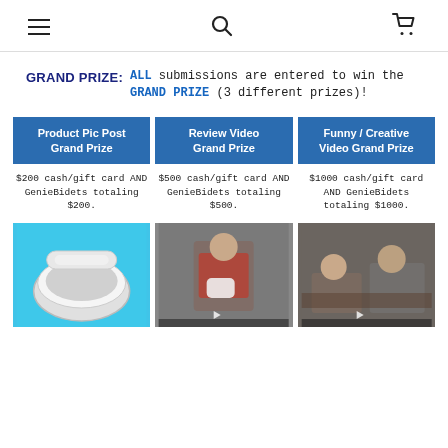hamburger menu, search icon, cart icon
GRAND PRIZE: ALL submissions are entered to win the GRAND PRIZE (3 different prizes)!
Product Pic Post Grand Prize
Review Video Grand Prize
Funny / Creative Video Grand Prize
$200 cash/gift card AND GenieBidets totaling $200.
$500 cash/gift card AND GenieBidets totaling $500.
$1000 cash/gift card AND GenieBidets totaling $1000.
[Figure (photo): Bidet product photo on blue background]
[Figure (photo): Man in red plaid shirt holding bidet product, video thumbnail]
[Figure (photo): Two men at table, video thumbnail]